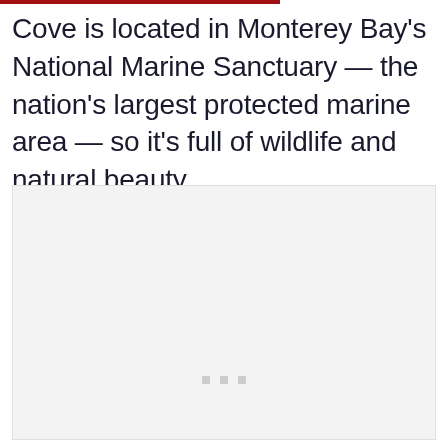Cove is located in Monterey Bay's National Marine Sanctuary — the nation's largest protected marine area — so it's full of wildlife and natural beauty.
[Figure (photo): A large light gray placeholder image box with three small gray square dots near the bottom center, representing a photo that has not loaded.]